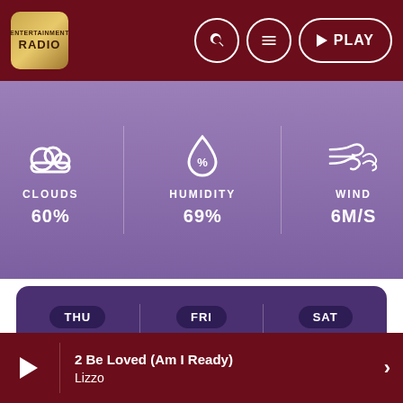RADIO - Navigation bar with logo, search, menu, and PLAY button
[Figure (infographic): Weather widget showing CLOUDS 60%, HUMIDITY 69%, WIND 6M/S with icons]
| THU | FRI | SAT |
| --- | --- | --- |
| MIN | MIN | MIN |
| 13° | 13° | 15° |
| MAX | MAX | MAX |
| 23° | 24° | 23° |
2 Be Loved (Am I Ready) Lizzo